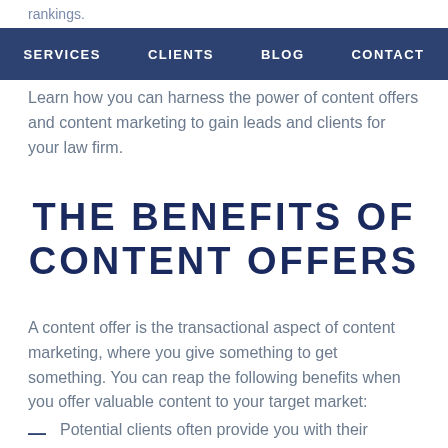rankings.
SERVICES   CLIENTS   BLOG   CONTACT
Learn how you can harness the power of content offers and content marketing to gain leads and clients for your law firm.
THE BENEFITS OF CONTENT OFFERS
A content offer is the transactional aspect of content marketing, where you give something to get something. You can reap the following benefits when you offer valuable content to your target market:
Potential clients often provide you with their